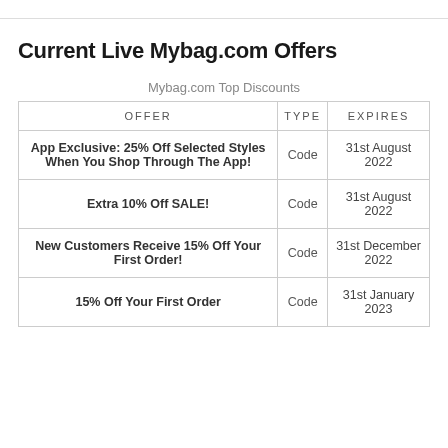Current Live Mybag.com Offers
Mybag.com Top Discounts
| OFFER | TYPE | EXPIRES |
| --- | --- | --- |
| App Exclusive: 25% Off Selected Styles When You Shop Through The App! | Code | 31st August 2022 |
| Extra 10% Off SALE! | Code | 31st August 2022 |
| New Customers Receive 15% Off Your First Order! | Code | 31st December 2022 |
| 15% Off Your First Order | Code | 31st January 2023 |